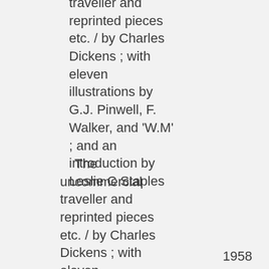traveller and reprinted pieces etc. / by Charles Dickens ; with eleven illustrations by G.J. Pinwell, F. Walker, and 'W.M' ; and an introduction by Leslie C Staples
The uncommercial traveller and reprinted pieces etc. / by Charles Dickens ; with eleven illustrations by
[Figure (illustration): Teal/green open book icon with lines representing text pages, labeled BOOK underneath]
1958